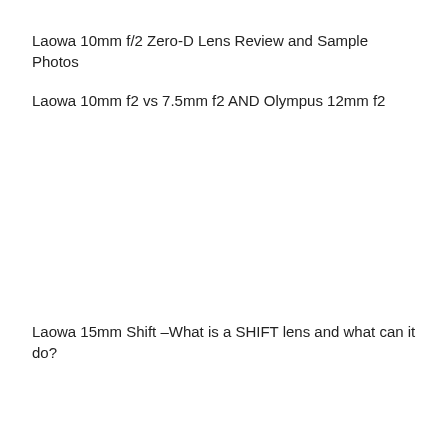Laowa 10mm f/2 Zero-D Lens Review and Sample Photos
Laowa 10mm f2 vs 7.5mm f2 AND Olympus 12mm f2
Laowa 15mm Shift –What is a SHIFT lens and what can it do?